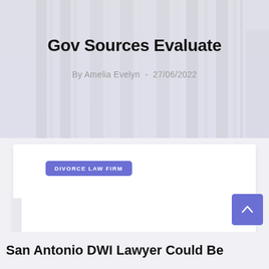Gov Sources Evaluate
By Amelia Evelyn  -  27/06/2022
DIVORCE LAW FIRM
San Antonio DWI Lawyer Could Be